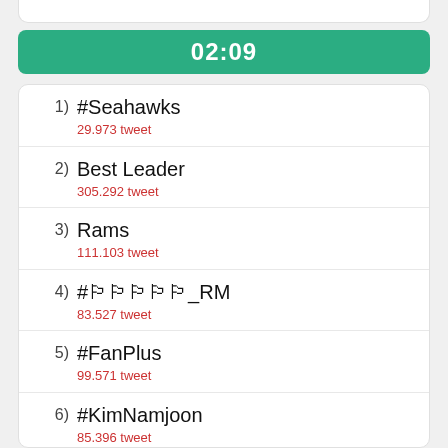02:09
#Seahawks
29.973 tweet
Best Leader
305.292 tweet
Rams
111.103 tweet
#□□□□□_RM
83.527 tweet
#FanPlus
99.571 tweet
#KimNamjoon
85.396 tweet
Zidane
21.006 tweet
Isco